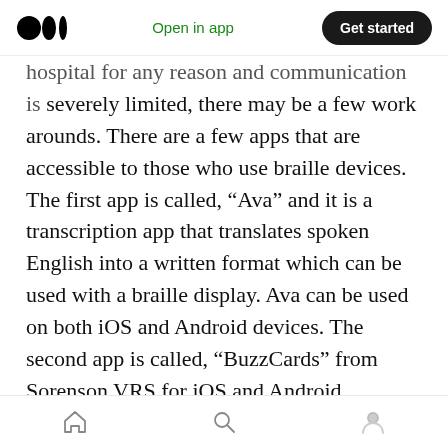Medium logo | Open in app | Get started
hospital for any reason and communication is severely limited, there may be a few work arounds. There are a few apps that are accessible to those who use braille devices. The first app is called, “Ava” and it is a transcription app that translates spoken English into a written format which can be used with a braille display. Ava can be used on both iOS and Android devices. The second app is called, “BuzzCards” from Sorenson VRS for iOS and Android. BuzzCards is basically a communication app that can be used to request or communicate. I use all of the above for different situations.
Home | Search | Profile